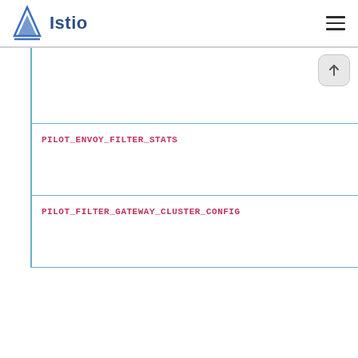Istio
PILOT_ENVOY_FILTER_STATS
PILOT_FILTER_GATEWAY_CLUSTER_CONFIG